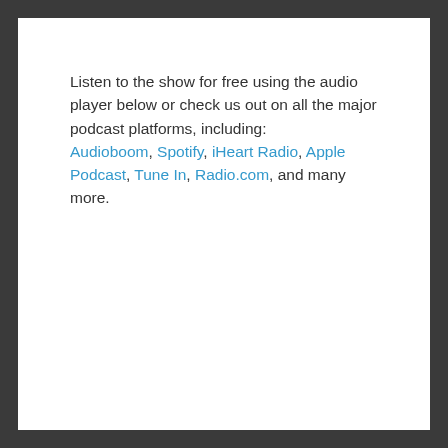Listen to the show for free using the audio player below or check us out on all the major podcast platforms, including: Audioboom, Spotify, iHeart Radio, Apple Podcast, Tune In, Radio.com, and many more.